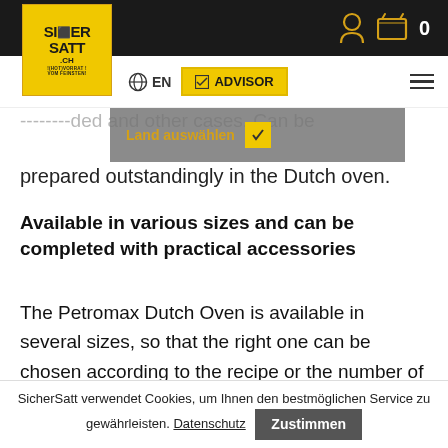[Figure (logo): SicherSatt logo - yellow square with black text SICHER SATT .ch and tagline]
Navigation bar with user icon, cart icon (0), globe EN, ADVISOR button, hamburger menu
prepared outstandingly in the Dutch oven.
Available in various sizes and can be completed with practical accessories
The Petromax Dutch Oven is available in several sizes, so that the right one can be chosen according to the recipe or the number of persons. The medium-sized model ft6 of the Dutch Oven without legs has a capacity of ca. 6.1 litres. It allows to
SicherSatt verwendet Cookies, um Ihnen den bestmöglichen Service zu gewährleisten. Datenschutz  Zustimmen